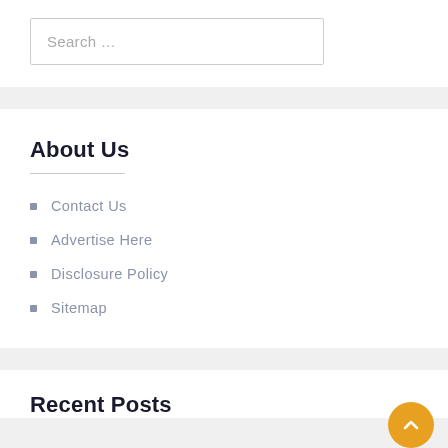Search …
About Us
Contact Us
Advertise Here
Disclosure Policy
Sitemap
Recent Posts